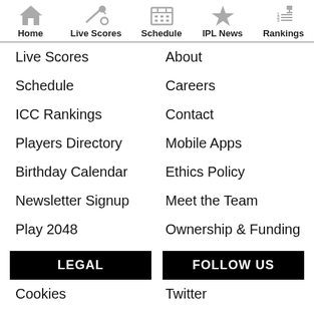Home | Live Scores | Schedule | IPL News | Rankings
Live Scores
Schedule
ICC Rankings
Players Directory
Birthday Calendar
Newsletter Signup
Play 2048
About
Careers
Contact
Mobile Apps
Ethics Policy
Meet the Team
Ownership & Funding
LEGAL
FOLLOW US
Cookies
Disclaimer
Privacy Policy
Twitter
Linkedin
Pinterest